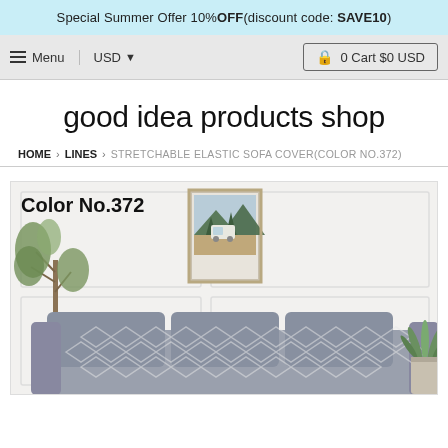Special Summer Offer 10%OFF(discount code: SAVE10)
Menu  USD  0 Cart $0 USD
good idea products shop
HOME › LINES › STRETCHABLE ELASTIC SOFA COVER(COLOR NO.372)
[Figure (photo): Product photo showing a grey patterned sofa cover on a sofa in a white-paneled room with plants and a framed mountain/van artwork on the wall. Text overlay reads 'Color No.372'.]